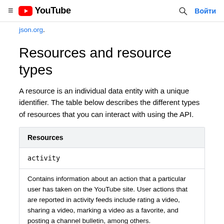≡  YouTube  🔍  Войти
json.org.
Resources and resource types
A resource is an individual data entity with a unique identifier. The table below describes the different types of resources that you can interact with using the API.
| Resources |
| --- |
| activity |
| Contains information about an action that a particular user has taken on the YouTube site. User actions that are reported in activity feeds include rating a video, sharing a video, marking a video as a favorite, and posting a channel bulletin, among others. |